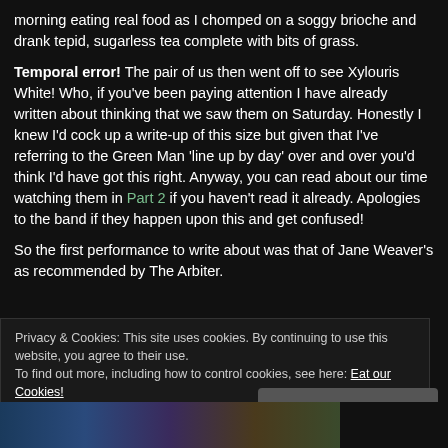morning eating real food as I chomped on a soggy brioche and drank tepid, sugarless tea complete with bits of grass.
Temporal error! The pair of us then went off to see Xylouris White! Who, if you've been paying attention I have already written about thinking that we saw them on Saturday. Honestly I knew I'd cock up a write-up of this size but given that I've referring to the Green Man 'line up by day' over and over you'd think I'd have got this right. Anyway, you can read about our time watching them in Part 2 if you haven't read it already. Apologies to the band if they happen upon this and get confused!
So the first performance to write about was that of Jane Weaver's as recommended by The Arbiter.
Privacy & Cookies: This site uses cookies. By continuing to use this website, you agree to their use.
To find out more, including how to control cookies, see here: Eat our Cookies!
Close and accept
[Figure (photo): Photo strip at bottom of page showing concert/festival images in dark blue and purple tones]